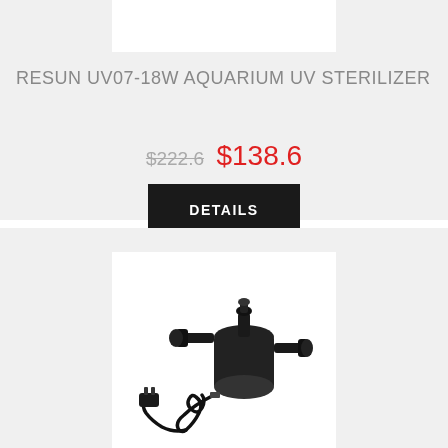[Figure (photo): White product image placeholder for RESUN UV07-18W Aquarium UV Sterilizer]
RESUN UV07-18W AQUARIUM UV STERILIZER
$222.6  $138.6
DETAILS
[Figure (photo): Photo of RESUN UV07-18W Aquarium UV Sterilizer device, black cylindrical body with inlet/outlet fittings and coiled power cord with plug]